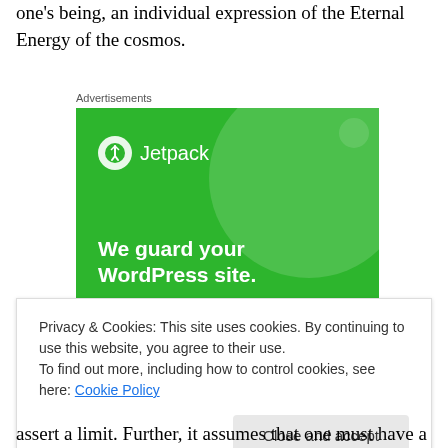one's being, an individual expression of the Eternal Energy of the cosmos.
Advertisements
[Figure (screenshot): Jetpack advertisement banner with green background showing logo, 'We guard your WordPress site. You run your business.']
Privacy & Cookies: This site uses cookies. By continuing to use this website, you agree to their use.
To find out more, including how to control cookies, see here: Cookie Policy
assert a limit. Further, it assumes that one must have a